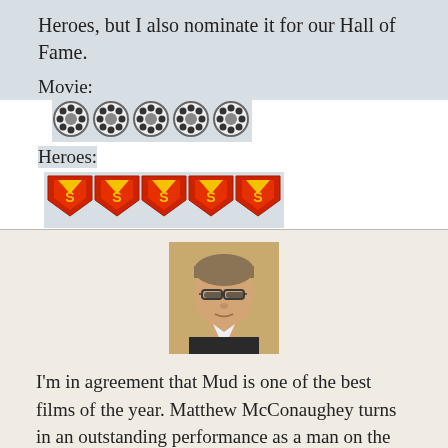Heroes, but I also nominate it for our Hall of Fame.
Movie:
[Figure (illustration): Five film reel icons representing a movie rating]
Heroes:
[Figure (illustration): Five Superman shield icons representing a heroes rating]
[Figure (photo): Portrait photo of a man with glasses wearing a dark suit]
I'm in agreement that Mud is one of the best films of the year. Matthew McConaughey turns in an outstanding performance as a man on the run, and young Tye Sheridan hits just the right notes in portraying the painful loss of youthful innocence.
This is an inspiring hero story, with Ellis passing through